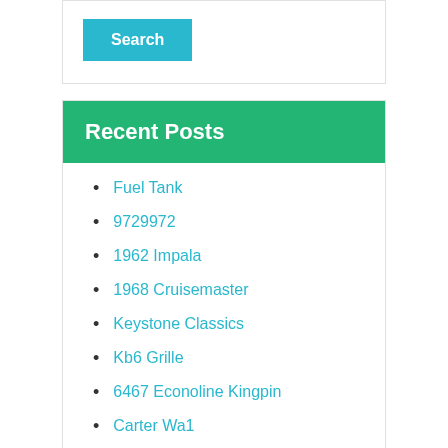[Figure (screenshot): Search button (cyan/teal colored button with white text 'Search')]
Recent Posts
Fuel Tank
9729972
1962 Impala
1968 Cruisemaster
Keystone Classics
Kb6 Grille
6467 Econoline Kingpin
Carter Wa1
Gas Sending Unit
Valve Stem
Znnr Order By 1451 Bamm
Znnr Order By 10 Hnng